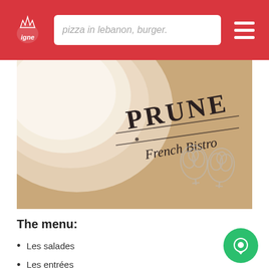pizza in lebanon, burger.
[Figure (photo): Close-up photo of a white plate on a table with the Prune French Bistro logo printed on paper/placemat beneath the plate, showing 'PRUNE • French Bistro' text and garlic illustrations]
The menu:
Les salades
Les entrées
Quelques classiques du bistro
Nos huîtres